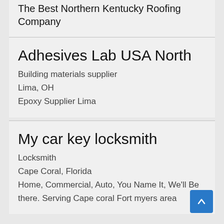The Best Northern Kentucky Roofing Company
Adhesives Lab USA North
Building materials supplier
Lima, OH
Epoxy Supplier Lima
My car key locksmith
Locksmith
Cape Coral, Florida
Home, Commercial, Auto, You Name It, We'll Be there. Serving Cape coral Fort myers area